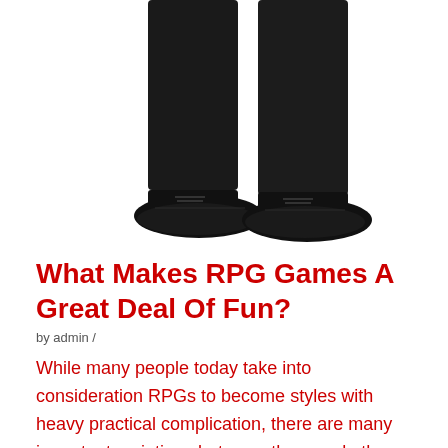[Figure (photo): Lower half of a person wearing black trousers and black dress shoes, standing on a white background, cropped at the thighs.]
What Makes RPG Games A Great Deal Of Fun?
by admin /
While many people today take into consideration RPGs to become styles with heavy practical complication, there are many important variations between them and other